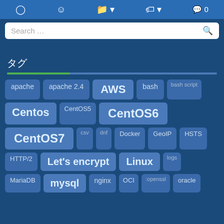Navigation bar with icons: clock, user, folder, tags, comment (0)
Search …
タグ
apache
apache 2.4
AWS
bash
bash script
Centos
CentOS5
CentOS6
CentOS7
csv
dnf
Docker
GeoIP
HSTS
HTTP/2
Let's encrypt
Linux
logs
MariaDB
mysql
nginx
OCI
openssl
oracle